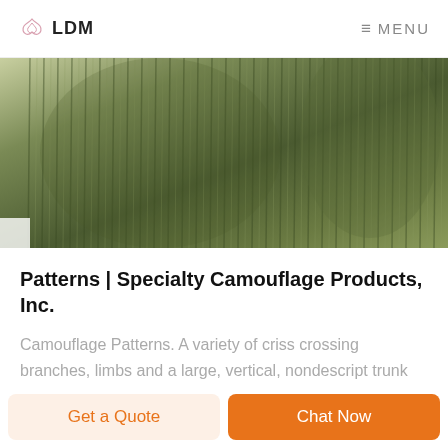LDM  MENU
[Figure (photo): Close-up photo of an olive green ribbed knit sweater or tactical shirt sleeve, showing textured fabric detail.]
Patterns | Specialty Camouflage Products, Inc.
Camouflage Patterns. A variety of criss crossing branches, limbs and a large, vertical, nondescript trunk arranged in a way to disrupt your human form at any range. A variety of leaves and branches
Get a Quote
Chat Now